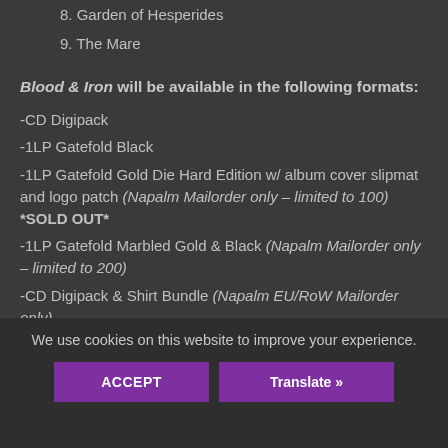8. Garden of Hesperides
9. The Mare
Blood & Iron will be available in the following formats:
-CD Digipack
-1LP Gatefold Black
-1LP Gatefold Gold Die Hard Edition w/ album cover slipmat and logo patch (Napalm Mailorder only – limited to 100) *SOLD OUT*
-1LP Gatefold Marbled Gold & Black (Napalm Mailorder only – limited to 200)
-CD Digipack & Shirt Bundle (Napalm EU/RoW Mailorder only)
We use cookies on this website to improve your experience.